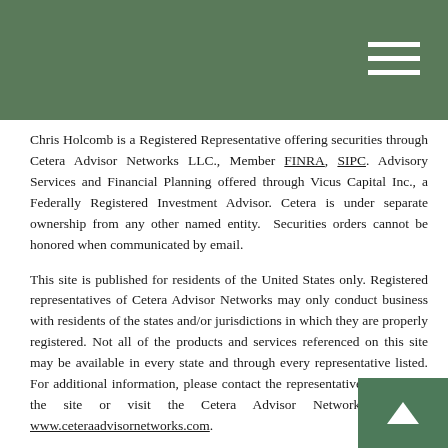Chris Holcomb is a Registered Representative offering securities through Cetera Advisor Networks LLC., Member FINRA, SIPC. Advisory Services and Financial Planning offered through Vicus Capital Inc., a Federally Registered Investment Advisor. Cetera is under separate ownership from any other named entity.  Securities orders cannot be honored when communicated by email.
This site is published for residents of the United States only. Registered representatives of Cetera Advisor Networks may only conduct business with residents of the states and/or jurisdictions in which they are properly registered. Not all of the products and services referenced on this site may be available in every state and through every representative listed. For additional information, please contact the representative(s) listed on the site or visit the Cetera Advisor Networks site at www.ceteraadvisornetworks.com.
| Important Disclosures | Business Continuity |
Individuals affiliated with this broker/dealer firm are either Registered Representatives who offer only brokerage services and receive transaction-based compensation (commissions), Investment Adviser Representatives who offer only investment advisory services and receive fees based on assets, or both Registered Representatives and Investment Adviser Representatives, who can offer both types of